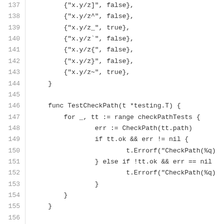Code listing lines 137-157: Go source code showing test data entries and TestCheckPath function and splitPathVersionTests variable declaration